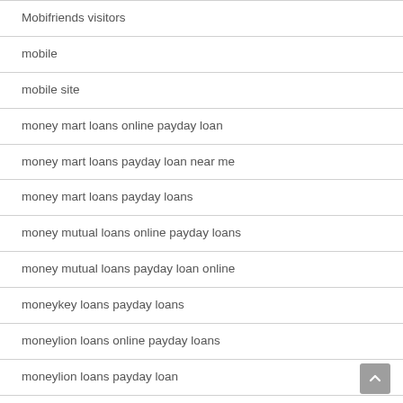Mobifriends visitors
mobile
mobile site
money mart loans online payday loan
money mart loans payday loan near me
money mart loans payday loans
money mutual loans online payday loans
money mutual loans payday loan online
moneykey loans payday loans
moneylion loans online payday loans
moneylion loans payday loan
moneylion loans payday loan near me